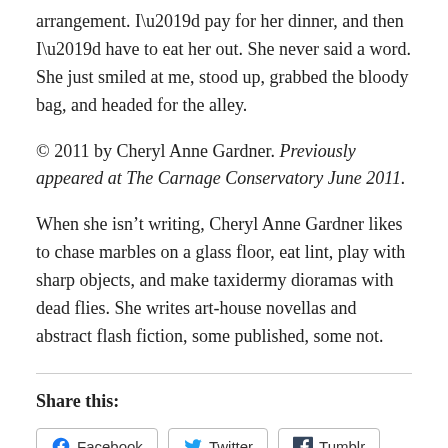arrangement. I’d pay for her dinner, and then I’d have to eat her out. She never said a word. She just smiled at me, stood up, grabbed the bloody bag, and headed for the alley.
© 2011 by Cheryl Anne Gardner. Previously appeared at The Carnage Conservatory June 2011.
When she isn’t writing, Cheryl Anne Gardner likes to chase marbles on a glass floor, eat lint, play with sharp objects, and make taxidermy dioramas with dead flies. She writes art-house novellas and abstract flash fiction, some published, some not.
Share this:
Facebook
Twitter
Tumblr